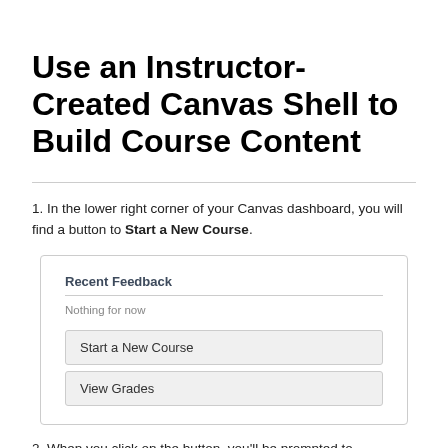Use an Instructor-Created Canvas Shell to Build Course Content
1. In the lower right corner of your Canvas dashboard, you will find a button to Start a New Course.
[Figure (screenshot): Screenshot of Canvas dashboard widget showing 'Recent Feedback' section with 'Nothing for now' text, and two buttons: 'Start a New Course' and 'View Grades']
2. When you click on the button, you'll be prompted to